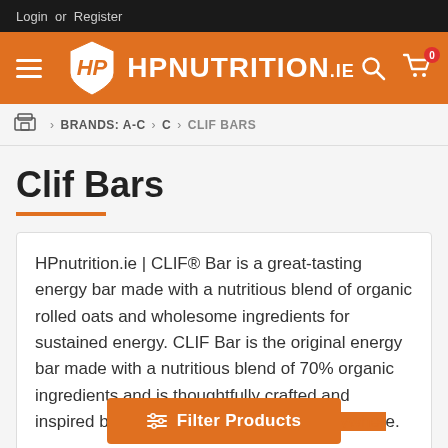Login or Register
[Figure (logo): HP Nutrition .ie logo with orange shield and white HP letters, white text HPNUTRITION.ie on orange navigation bar with hamburger menu, search icon, and cart icon showing 0 items]
> BRANDS: A-C > C > CLIF BARS
Clif Bars
HPnutrition.ie | CLIF® Bar is a great-tasting energy bar made with a nutritious blend of organic rolled oats and wholesome ingredients for sustained energy. CLIF Bar is the original energy bar made with a nutritious blend of 70% organic ingredients and is thoughtfully crafted and inspired by athletes and food lovers everywhere.
Filter Products